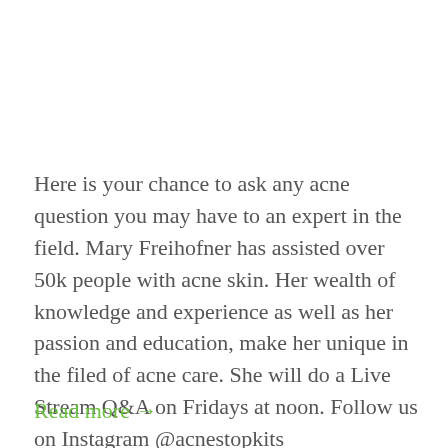Here is your chance to ask any acne question you may have to an expert in the field. Mary Freihofner has assisted over 50k people with acne skin. Her wealth of knowledge and experience as well as her passion and education, make her unique in the filed of acne care. She will do a Live Stream Q&A on Fridays at noon. Follow us on Instagram @acnestopkits_
Read more →